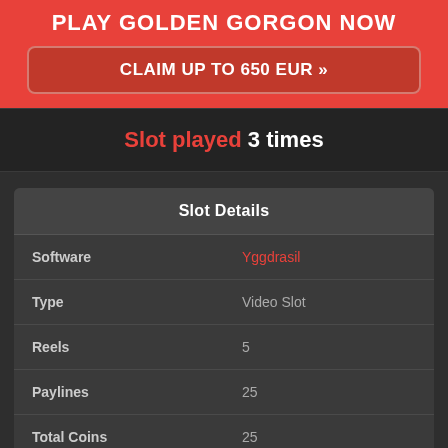PLAY GOLDEN GORGON NOW
CLAIM UP TO 650 EUR »
Slot played 3 times
|  |  |
| --- | --- |
| Software | Yggdrasil |
| Type | Video Slot |
| Reels | 5 |
| Paylines | 25 |
| Total Coins | 25 |